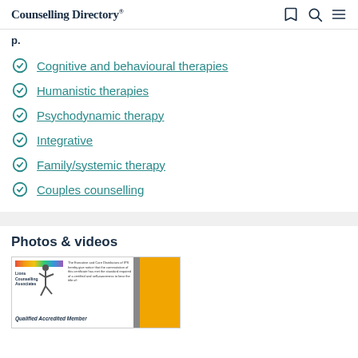Counselling Directory
Cognitive and behavioural therapies
Humanistic therapies
Psychodynamic therapy
Integrative
Family/systemic therapy
Couples counselling
Photos & videos
[Figure (photo): Qualified Accredited Member certificate/badge with rainbow logo, running figure illustration, text block, and yellow panel on right]